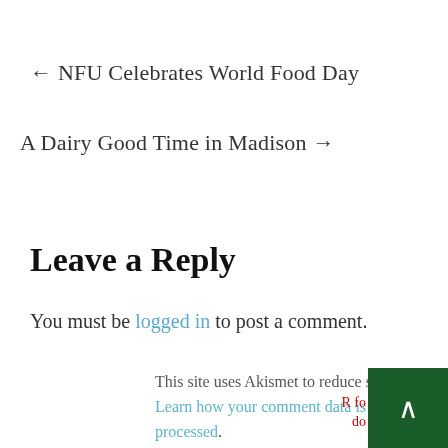← NFU Celebrates World Food Day
A Dairy Good Time in Madison →
Leave a Reply
You must be logged in to post a comment.
This site uses Akismet to reduce spam. Learn how your comment data is processed.